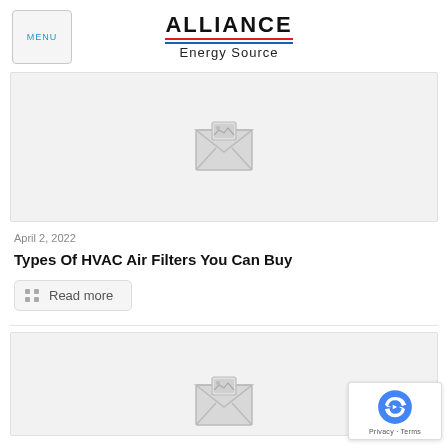ALLIANCE Energy Source
[Figure (photo): Placeholder image with envelope/image icon in a light gray box]
April 2, 2022
Types Of HVAC Air Filters You Can Buy
Read more
[Figure (photo): Second placeholder image with envelope/image icon in a light gray box]
[Figure (logo): reCAPTCHA badge with Privacy and Terms links]